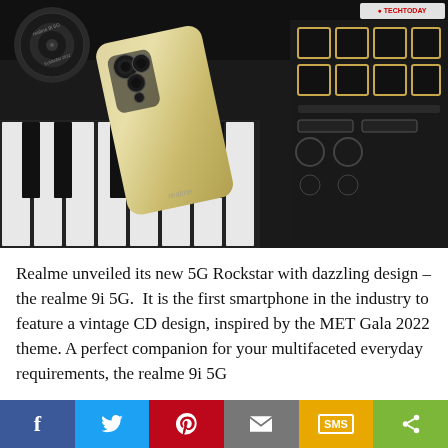[Figure (photo): Realme 9i 5G smartphone with gold/champagne finish placed on a DJ keyboard/mixer with piano keys and illuminated gold pad buttons on a dark background]
Realme unveiled its new 5G Rockstar with dazzling design – the realme 9i 5G.  It is the first smartphone in the industry to feature a vintage CD design, inspired by the MET Gala 2022 theme. A perfect companion for your multifaceted everyday requirements, the realme 9i 5G
f  [twitter bird]  [pinterest P]  [email envelope]  SMS  [share icon]